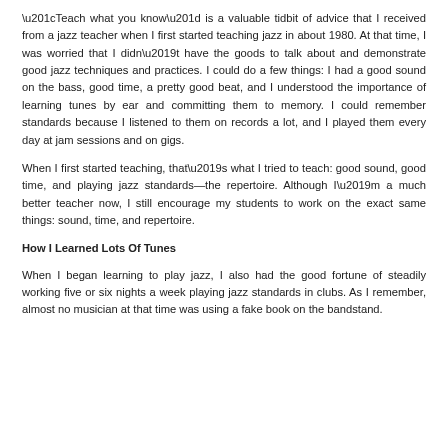“Teach what you know” is a valuable tidbit of advice that I received from a jazz teacher when I first started teaching jazz in about 1980. At that time, I was worried that I didn’t have the goods to talk about and demonstrate good jazz techniques and practices. I could do a few things: I had a good sound on the bass, good time, a pretty good beat, and I understood the importance of learning tunes by ear and committing them to memory. I could remember standards because I listened to them on records a lot, and I played them every day at jam sessions and on gigs.
When I first started teaching, that’s what I tried to teach: good sound, good time, and playing jazz standards—the repertoire. Although I’m a much better teacher now, I still encourage my students to work on the exact same things: sound, time, and repertoire.
How I Learned Lots Of Tunes
When I began learning to play jazz, I also had the good fortune of steadily working five or six nights a week playing jazz standards in clubs. As I remember, almost no musician at that time was using a fake book on the bandstand.